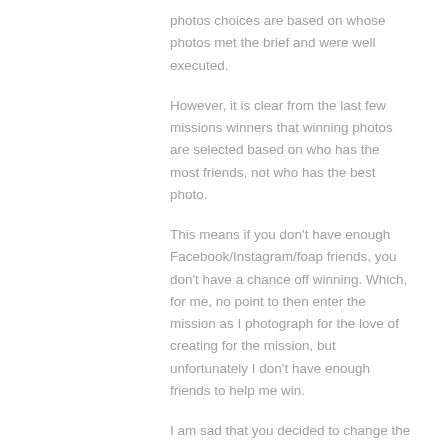photos choices are based on whose photos met the brief and were well executed.
However, it is clear from the last few missions winners that winning photos are selected based on who has the most friends, not who has the best photo.
This means if you don't have enough Facebook/Instagram/foap friends, you don't have a chance off winning. Which, for me, no point to then enter the mission as I photograph for the love of creating for the mission, but unfortunately I don't have enough friends to help me win.
I am sad that you decided to change the way you select winners.
REPLY